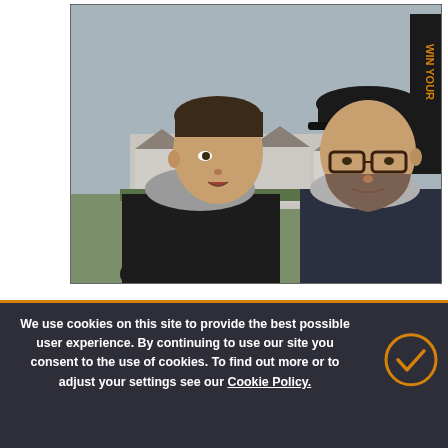[Figure (photo): Two men standing outdoors. Man on the left has dark hair and wears a dark jacket with a grey hoodie underneath, facing the right. Man on the right wears a black cap and glasses, has a beard, wears a grey hoodie under a dark jacket. Background shows residential houses and a grassy area under a cloudy sky. A banner with yellow text is partially visible on the far right.]
SEE FULL ARTICLE
We use cookies on this site to provide the best possible user experience. By continuing to use our site you consent to the use of cookies. To find out more or to adjust your settings see our Cookie Policy.